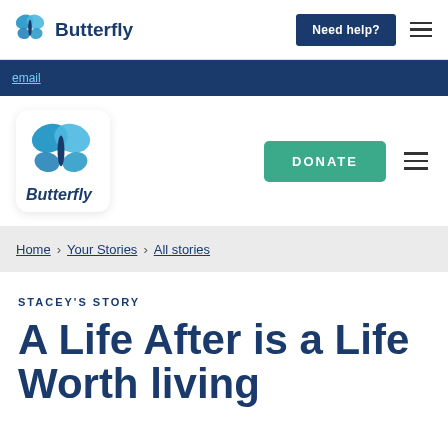Butterfly  Need help?
email
[Figure (logo): Butterfly logo with teal/blue butterfly icon and bold navy text 'Butterfly']
DONATE
Home > Your Stories > All stories
STACEY'S STORY
A Life After is a Life Worth living